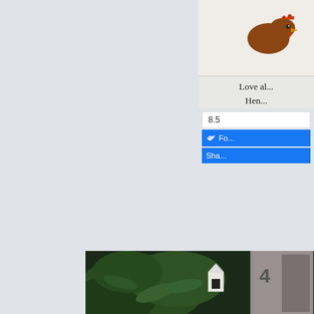[Figure (screenshot): Partial view of a blog sidebar showing a Facebook follow/share widget with profile image, follower count 8.5, Follow button, and Share button]
Love al... Hen...
Is that Henry Evia at 6:51 PM   0 comments
Labels: Life Journal
TUESDAY, JANUARY 24, 2017
Lost Boy
[Figure (photo): Dark outdoor photo showing a white birdhouse or lantern structure among green plant leaves, partial view of number 4 on a door in background]